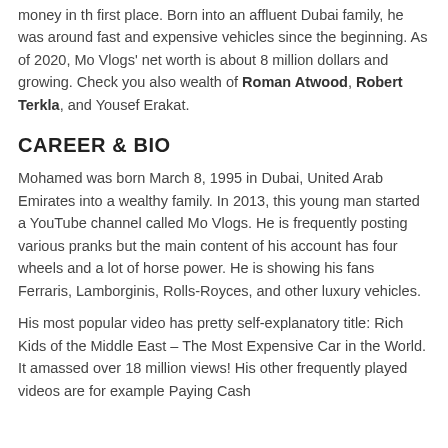money in th first place. Born into an affluent Dubai family, he was around fast and expensive vehicles since the beginning. As of 2020, Mo Vlogs' net worth is about 8 million dollars and growing. Check you also wealth of Roman Atwood, Robert Terkla, and Yousef Erakat.
CAREER & BIO
Mohamed was born March 8, 1995 in Dubai, United Arab Emirates into a wealthy family. In 2013, this young man started a YouTube channel called Mo Vlogs. He is frequently posting various pranks but the main content of his account has four wheels and a lot of horse power. He is showing his fans Ferraris, Lamborginis, Rolls-Royces, and other luxury vehicles.
His most popular video has pretty self-explanatory title: Rich Kids of the Middle East – The Most Expensive Car in the World. It amassed over 18 million views! His other frequently played videos are for example Paying Cash